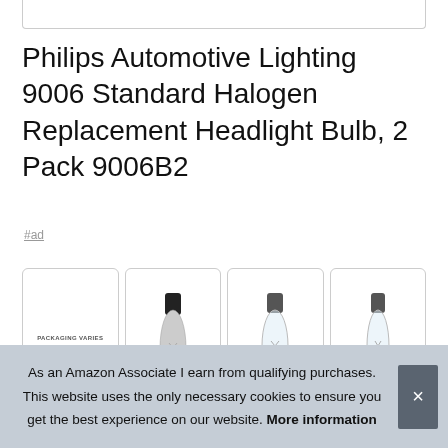Philips Automotive Lighting 9006 Standard Halogen Replacement Headlight Bulb, 2 Pack 9006B2
#ad
[Figure (photo): Four thumbnail images of product: first shows packaging text 'PACKAGING VARIES You may receive either of these packages for a limited time', second shows a dark halogen bulb, third shows a clear halogen bulb front view, fourth shows a clear halogen bulb side view. Small product image overlay in bottom-left corner.]
As an Amazon Associate I earn from qualifying purchases. This website uses the only necessary cookies to ensure you get the best experience on our website. More information